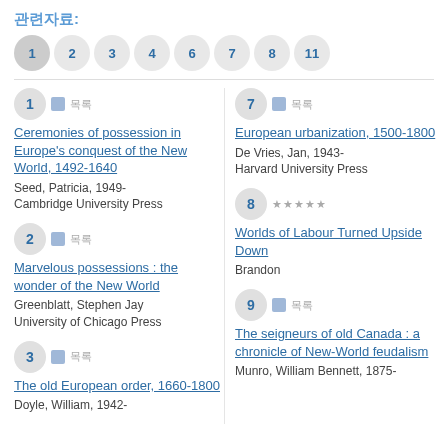관련자료:
Page buttons: 1 2 3 4 6 7 8 11
1 - Ceremonies of possession in Europe's conquest of the New World, 1492-1640 | Seed, Patricia, 1949- | Cambridge University Press
7 - European urbanization, 1500-1800 | De Vries, Jan, 1943- | Harvard University Press
2 - Marvelous possessions : the wonder of the New World | Greenblatt, Stephen Jay | University of Chicago Press
8 - Worlds of Labour Turned Upside Down | Brandon
3 - The old European order, 1660-1800 | Doyle, William, 1942-
9 - The seigneurs of old Canada : a chronicle of New-World feudalism | Munro, William Bennett, 1875-